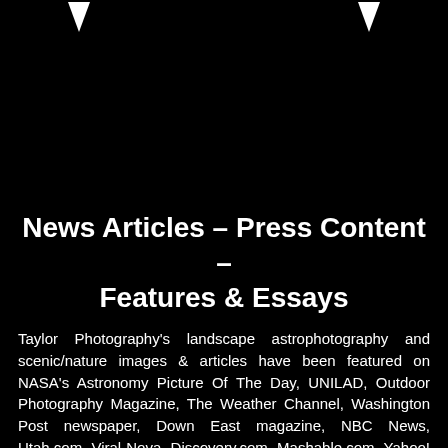[Figure (other): Two downward-pointing arrows in the top-left and top-right corners on a black background]
News Articles – Press Content – Features & Essays
Taylor Photography's landscape astrophotography and scenic/nature images & articles have been featured on NASA's Astronomy Picture Of The Day, UNILAD, Outdoor Photography Magazine, The Weather Channel, Washington Post newspaper, Down East magazine, NBC News, Utah.com, Viral Nova, Discovery.com, Mashable.com, Yahoo! News, Space.com, Earthsky.org, International Dark-Sky Association, Spaceweather.com, Solarham.net, Huffington Post, and other